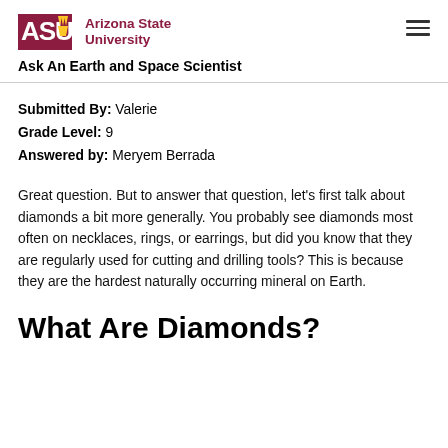Arizona State University — Ask An Earth and Space Scientist
Submitted By: Valerie
Grade Level: 9
Answered by: Meryem Berrada
Great question. But to answer that question, let's first talk about diamonds a bit more generally. You probably see diamonds most often on necklaces, rings, or earrings, but did you know that they are regularly used for cutting and drilling tools? This is because they are the hardest naturally occurring mineral on Earth.
What Are Diamonds?